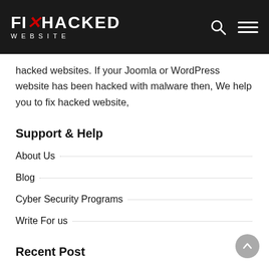FIX HACKED WEBSITE
hacked websites. If your Joomla or WordPress website has been hacked with malware then, We help you to fix hacked website,
Support & Help
About Us
Blog
Cyber Security Programs
Write For us
Recent Post
7 Critical Questions to Ask Before Buying SaaS Tools?